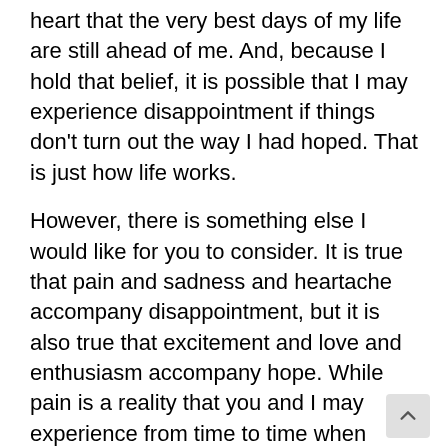heart that the very best days of my life are still ahead of me. And, because I hold that belief, it is possible that I may experience disappointment if things don't turn out the way I had hoped. That is just how life works.
However, there is something else I would like for you to consider. It is true that pain and sadness and heartache accompany disappointment, but it is also true that excitement and love and enthusiasm accompany hope. While pain is a reality that you and I may experience from time to time when things do not go as we planned, isn't it better to live with hope in our hearts? I think it is. As far as I am concerned, the pain is not as bad as the hope is good! Did you get that? Pain is not as bad as the hope is good!